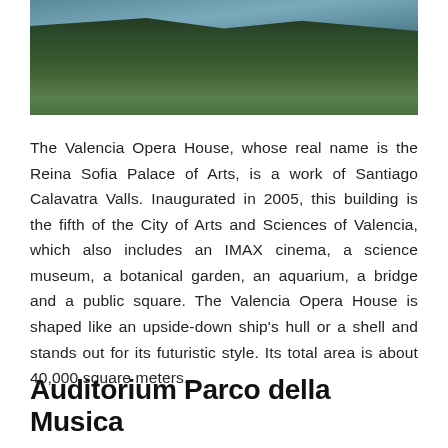[Figure (photo): Outdoor photo showing dark treetops/shrubs silhouetted against a partially visible blue-teal sky, cropped at top of page.]
The Valencia Opera House, whose real name is the Reina Sofia Palace of Arts, is a work of Santiago Calavatra Valls. Inaugurated in 2005, this building is the fifth of the City of Arts and Sciences of Valencia, which also includes an IMAX cinema, a science museum, a botanical garden, an aquarium, a bridge and a public square. The Valencia Opera House is shaped like an upside-down ship's hull or a shell and stands out for its futuristic style. Its total area is about 40,000 square meters.
Auditorium Parco della Musica